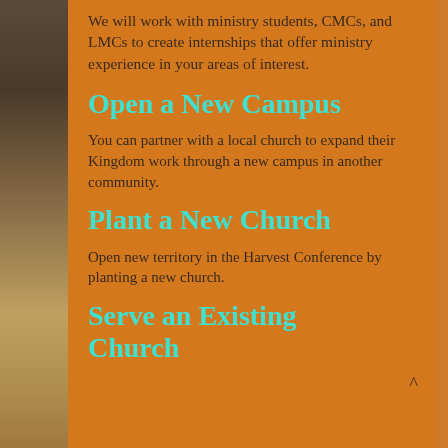[Figure (photo): Left strip showing a partial photo of a person, darkened and partially obscured]
We will work with ministry students, CMCs, and LMCs to create internships that offer ministry experience in your areas of interest.
Open a New Campus
You can partner with a local church to expand their Kingdom work through a new campus in another community.
Plant a New Church
Open new territory in the Harvest Conference by planting a new church.
Serve an Existing Church
^